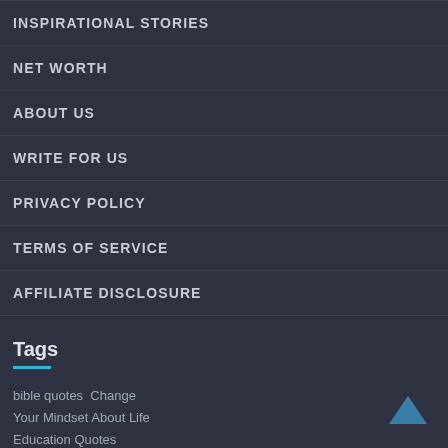INSPIRATIONAL STORIES
NET WORTH
ABOUT US
WRITE FOR US
PRIVACY POLICY
TERMS OF SERVICE
AFFILIATE DISCLOSURE
Tags
bible quotes  Change Your Mindset About Life  Education Quotes  Encouraging Quotes  family quotes  fitness  Funny Inspirational Quotes  health  inspirational Aquaman